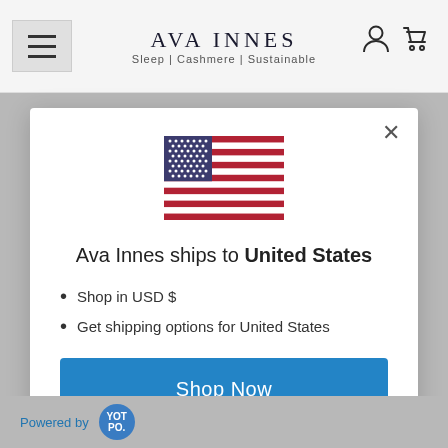AVA INNES — Sleep | Cashmere | Sustainable
[Figure (illustration): US flag SVG illustration]
Ava Innes ships to United States
Shop in USD $
Get shipping options for United States
Shop Now
Change Shipping Country
Powered by YOTPO